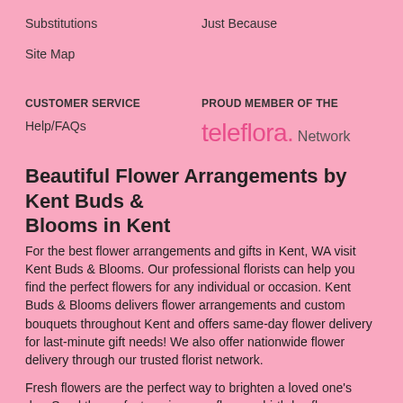Substitutions
Just Because
Site Map
CUSTOMER SERVICE
PROUD MEMBER OF THE
Help/FAQs
[Figure (logo): teleflora. Network logo in pink and grey text]
Beautiful Flower Arrangements by Kent Buds & Blooms in Kent
For the best flower arrangements and gifts in Kent, WA visit Kent Buds & Blooms. Our professional florists can help you find the perfect flowers for any individual or occasion. Kent Buds & Blooms delivers flower arrangements and custom bouquets throughout Kent and offers same-day flower delivery for last-minute gift needs! We also offer nationwide flower delivery through our trusted florist network.
Fresh flowers are the perfect way to brighten a loved one's day. Send the perfect anniversary flowers, birthday flowers, or Mother's Day flowers quickly and easily! No matter what kind of flowers you want, we have you covered.